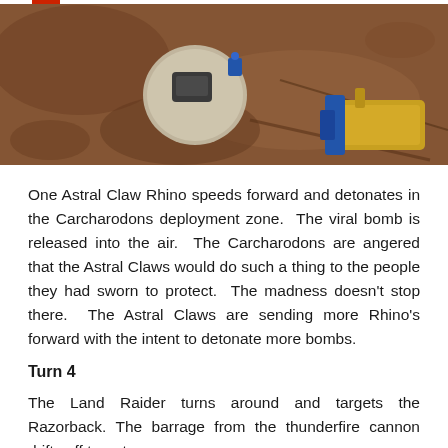[Figure (photo): Top-down view of tabletop miniature wargame scene on a brown/reddish terrain mat. Shows a miniature vehicle on a circular base (appears to be a Rhino tank) and another blue and yellow vehicle/model in the lower right corner.]
One Astral Claw Rhino speeds forward and detonates in the Carcharodons deployment zone.  The viral bomb is released into the air.  The Carcharodons are angered that the Astral Claws would do such a thing to the people they had sworn to protect.  The madness doesn't stop there.  The Astral Claws are sending more Rhino's forward with the intent to detonate more bombs.
Turn 4
The Land Raider turns around and targets the Razorback. The barrage from the thunderfire cannon drifts off target